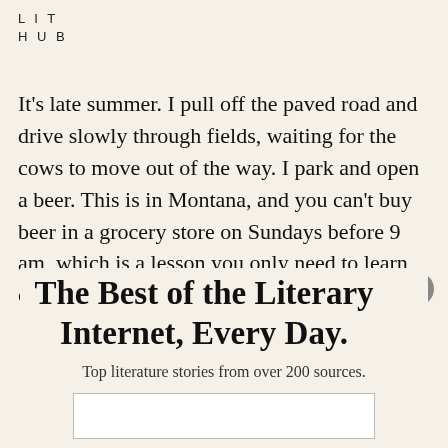LIT HUB
It's late summer. I pull off the paved road and drive slowly through fields, waiting for the cows to move out of the way. I park and open a beer. This is in Montana, and you can't buy beer in a grocery store on Sundays before 9 am, which is a lesson you only need to learn once, and now I
The Best of the Literary Internet, Every Day.
Top literature stories from over 200 sources.